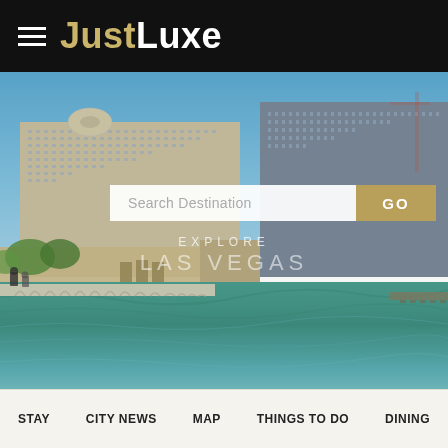JustLuxe
[Figure (photo): Aerial view of Las Vegas strip with Bellagio and Caesars Palace hotels, blue sky, and fountain lake in foreground with bridge walkway]
Search Destination
GO
EXPLORE
LAS VEGAS
STAY
CITY NEWS
MAP
THINGS TO DO
DINING